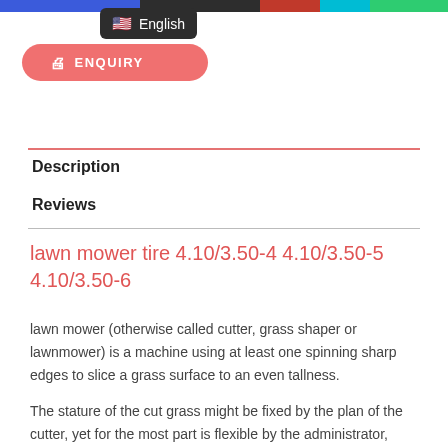[Figure (screenshot): Top navigation bar with colored segments: blue, dark/black, red, cyan, green]
[Figure (screenshot): Language dropdown showing US flag and 'English' text on dark background]
[Figure (screenshot): Salmon/coral colored ENQUIRY button with icon]
Description
Reviews
lawn mower tire 4.10/3.50-4 4.10/3.50-5 4.10/3.50-6
lawn mower (otherwise called cutter, grass shaper or lawnmower) is a machine using at least one spinning sharp edges to slice a grass surface to an even tallness.
The stature of the cut grass might be fixed by the plan of the cutter, yet for the most part is flexible by the administrator, ordinarily by a solitary expert switch, or by